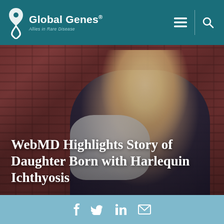Global Genes® — Allies in Rare Disease
[Figure (photo): A smiling blonde woman holding a baby wrapped in white fabric, standing in front of a brick wall. The image serves as the hero background for the article.]
WebMD Highlights Story of Daughter Born with Harlequin Ichthyosis
[Figure (infographic): Social sharing bar with Facebook, Twitter, LinkedIn, and Email icons on a light blue background.]